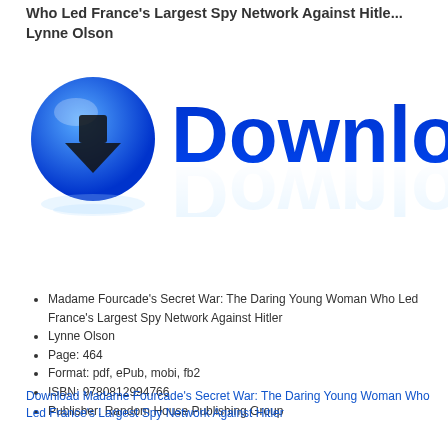Who Led France's Largest Spy Network Against Hitler Lynne Olson
[Figure (illustration): Blue circular download button icon with a downward arrow, next to large bold blue 'Download' text with a reflection effect below]
Madame Fourcade's Secret War: The Daring Young Woman Who Led France's Largest Spy Network Against Hitler
Lynne Olson
Page: 464
Format: pdf, ePub, mobi, fb2
ISBN: 9780812994766
Publisher: Random House Publishing Group
Download Madame Fourcade's Secret War: The Daring Young Woman Who Led France's Largest Spy Network Against Hitler